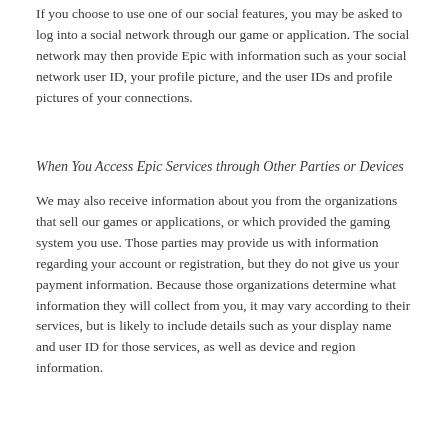If you choose to use one of our social features, you may be asked to log into a social network through our game or application. The social network may then provide Epic with information such as your social network user ID, your profile picture, and the user IDs and profile pictures of your connections.
When You Access Epic Services through Other Parties or Devices
We may also receive information about you from the organizations that sell our games or applications, or which provided the gaming system you use. Those parties may provide us with information regarding your account or registration, but they do not give us your payment information. Because those organizations determine what information they will collect from you, it may vary according to their services, but is likely to include details such as your display name and user ID for those services, as well as device and region information.